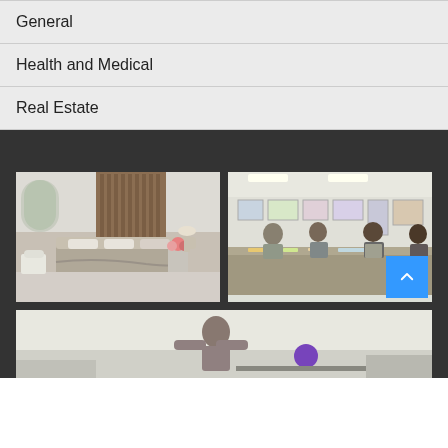General
Health and Medical
Real Estate
[Figure (photo): Luxury bedroom interior with chandelier, curtains, white furniture, and large bed with pink flowers]
[Figure (photo): People working at a table in an art classroom or workshop, with artwork on walls]
[Figure (photo): Person exercising or stretching outdoors with a purple exercise ball on a surface nearby]